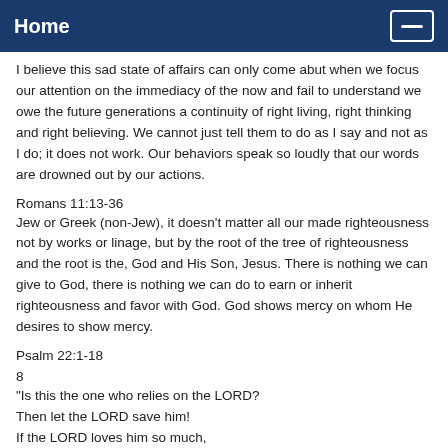Home
I believe this sad state of affairs can only come abut when we focus our attention on the immediacy of the now and fail to understand we owe the future generations a continuity of right living, right thinking and right believing. We cannot just tell them to do as I say and not as I do; it does not work. Our behaviors speak so loudly that our words are drowned out by our actions.
Romans 11:13-36
Jew or Greek (non-Jew), it doesn't matter all our made righteousness not by works or linage, but by the root of the tree of righteousness and the root is the, God and His Son, Jesus. There is nothing we can give to God, there is nothing we can do to earn or inherit righteousness and favor with God. God shows mercy on whom He desires to show mercy.
Psalm 22:1-18
8
"Is this the one who relies on the LORD?
Then let the LORD save him!
If the LORD loves him so much,
let the LORD rescue him!"